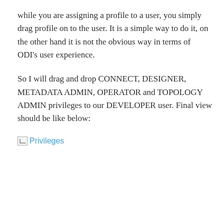while you are assigning a profile to a user, you simply drag profile on to the user. It is a simple way to do it, on the other hand it is not the obvious way in terms of ODI's user experience.
So I will drag and drop CONNECT, DESIGNER, METADATA ADMIN, OPERATOR and TOPOLOGY ADMIN privileges to our DEVELOPER user. Final view should be like below:
[Figure (screenshot): A broken image placeholder labeled 'Privileges']